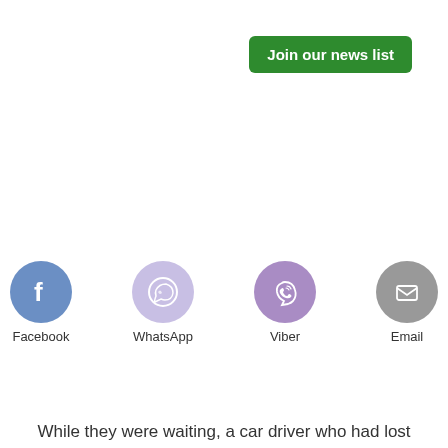Join our news list
[Figure (illustration): Row of four social media sharing icons with labels: Facebook (blue circle with f logo), WhatsApp (light purple circle with phone/WhatsApp logo), Viber (purple circle with phone/viber logo), Email (grey circle with envelope icon)]
While they were waiting, a car driver who had lost